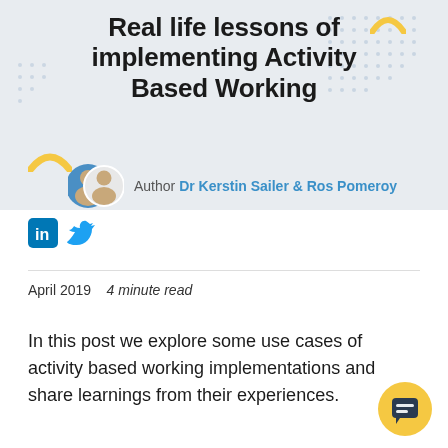Real life lessons of implementing Activity Based Working
Author Dr Kerstin Sailer & Ros Pomeroy
[Figure (illustration): Two author portrait photos in circular frames, social share icons (LinkedIn and Twitter)]
April 2019    4 minute read
In this post we explore some use cases of activity based working implementations and share learnings from their experiences.